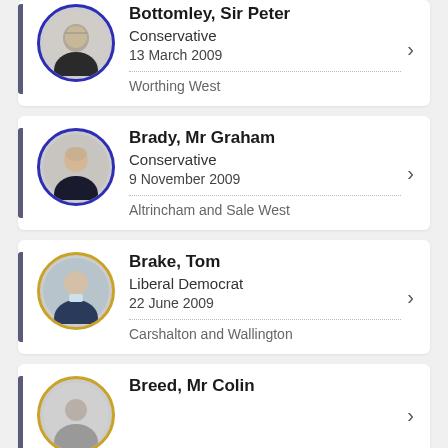Bottomley, Sir Peter | Conservative | 13 March 2009 | Worthing West
Brady, Mr Graham | Conservative | 9 November 2009 | Altrincham and Sale West
Brake, Tom | Liberal Democrat | 22 June 2009 | Carshalton and Wallington
Breed, Mr Colin